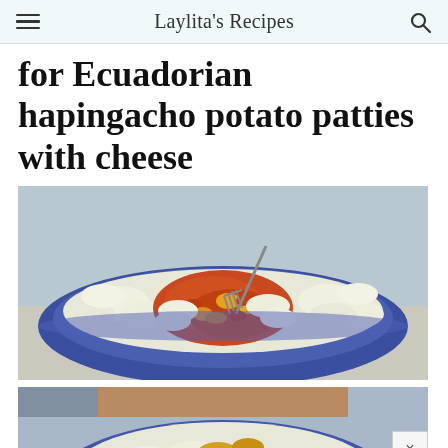Laylita's Recipes
for Ecuadorian hapingacho potato patties with cheese
[Figure (photo): A blue bowl containing mashed potatoes with red achiote/annatto sauce and a fork, being mixed together — preparation step for llapingachos]
[Figure (photo): Partial view of a blue bowl with yellow cheese crumbled into potato mixture — preparation step for llapingachos]
[Figure (photo): Partial view of a white plate or bowl with white potato mixture — preparation step for llapingachos]